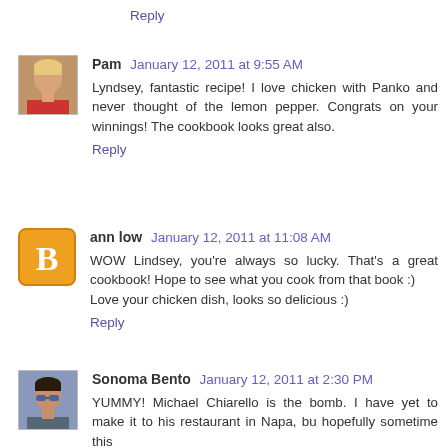Reply
Pam January 12, 2011 at 9:55 AM
Lyndsey, fantastic recipe! I love chicken with Panko and never thought of the lemon pepper. Congrats on your winnings! The cookbook looks great also.
Reply
ann low January 12, 2011 at 11:08 AM
WOW Lindsey, you're always so lucky. That's a great cookbook! Hope to see what you cook from that book :) Love your chicken dish, looks so delicious :)
Reply
Sonoma Bento January 12, 2011 at 2:30 PM
YUMMY! Michael Chiarello is the bomb. I have yet to make it to his restaurant in Napa, bu hopefully sometime this